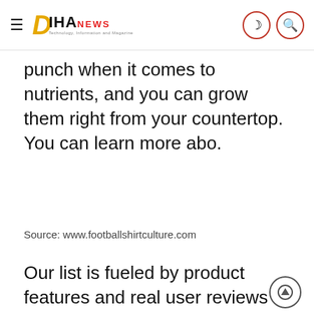DIHANEWS
punch when it comes to nutrients, and you can grow them right from your countertop. You can learn more abo.
Source: www.footballshirtculture.com
Our list is fueled by product features and real user reviews and ratings. You can learn more about our review. Whether you prefer the convenience of an